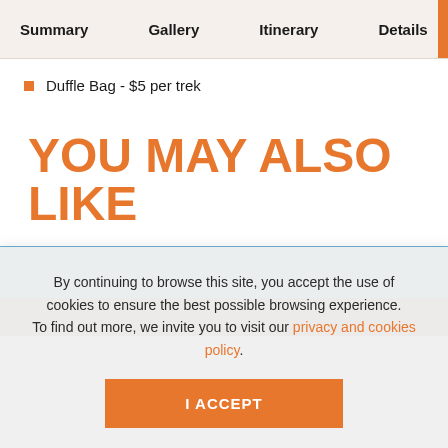Summary  Gallery  Itinerary  Details
Duffle Bag - $5 per trek
YOU MAY ALSO LIKE
[Figure (photo): Blue and brown image placeholder for a recommended trek]
By continuing to browse this site, you accept the use of cookies to ensure the best possible browsing experience. To find out more, we invite you to visit our privacy and cookies policy.